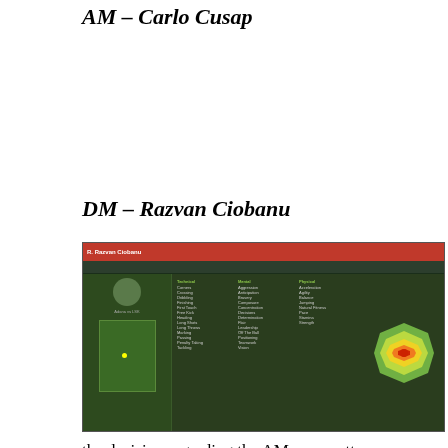AM – Carlo Cusp
DM – Razvan Ciobanu
[Figure (screenshot): Football Manager screenshot showing Razvan Ciobanu player profile with stats, attributes, and a heatmap showing his positioning on the right side of the pitch]
the decision regarding the AM was pretty simple – he is the only player in this squad capable of creating something and technical enough to execute that so I've decided his role is set as the AP of this team. Looking around the squad, I've realized our forwards aren't good enough to